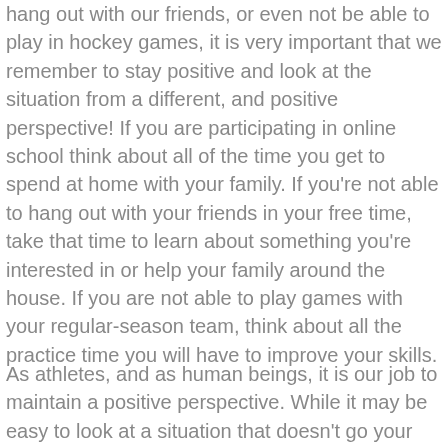hang out with our friends, or even not be able to play in hockey games, it is very important that we remember to stay positive and look at the situation from a different, and positive perspective! If you are participating in online school think about all of the time you get to spend at home with your family. If you're not able to hang out with your friends in your free time, take that time to learn about something you're interested in or help your family around the house. If you are not able to play games with your regular-season team, think about all the practice time you will have to improve your skills.
As athletes, and as human beings, it is our job to maintain a positive perspective. While it may be easy to look at a situation that doesn't go your way with a negative attitude, it does you no good to do so.